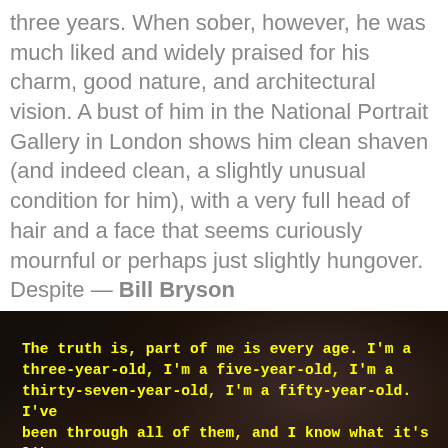three years. When sober, however, he was much liked and widely praised for his charm, good nature, and architectural vision. A bust of him in the National Portrait Gallery in London shows him clean shaven (and indeed clean, a slightly unusual condition for him), with a very full head of hair and a face that seems curiously mournful or perhaps just slightly hungover. Despite — Bill Bryson
[Figure (photo): Dark blurred floral background image with yellow monospace text overlay: a quote by Mitch Albom about being every age.]